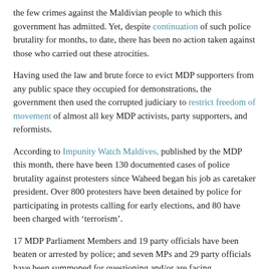the few crimes against the Maldivian people to which this government has admitted. Yet, despite continuation of such police brutality for months, to date, there has been no action taken against those who carried out these atrocities.
Having used the law and brute force to evict MDP supporters from any public space they occupied for demonstrations, the government then used the corrupted judiciary to restrict freedom of movement of almost all key MDP activists, party supporters, and reformists.
According to Impunity Watch Maldives, published by the MDP this month, there have been 130 documented cases of police brutality against protesters since Waheed began his job as caretaker president. Over 800 protesters have been detained by police for participating in protests calling for early elections, and 80 have been charged with 'terrorism'.
17 MDP Parliament Members and 19 party officials have been beaten or arrested by police; and seven MPs and 29 party officials have been summoned for questioning and/or are facing prosecution. These targeted arrests have also included three Ministers of Nasheed's government—the government that Waheed claims to be faithfully continuing.